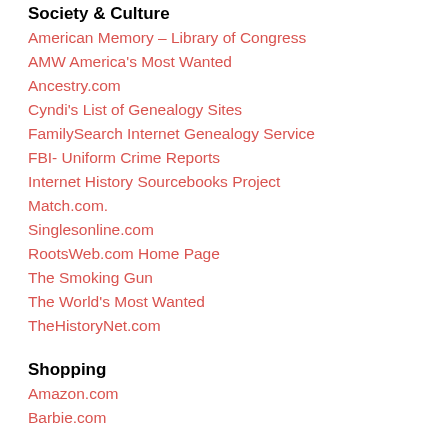Society & Culture
American Memory – Library of Congress
AMW America's Most Wanted
Ancestry.com
Cyndi's List of Genealogy Sites
FamilySearch Internet Genealogy Service
FBI- Uniform Crime Reports
Internet History Sourcebooks Project
Match.com.
Singlesonline.com
RootsWeb.com Home Page
The Smoking Gun
The World's Most Wanted
TheHistoryNet.com
Shopping
Amazon.com
Barbie.com